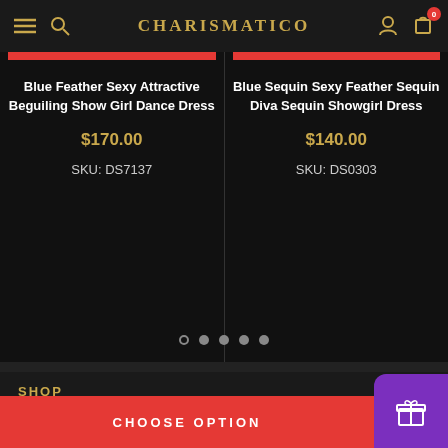CHARISMATICO
Blue Feather Sexy Attractive Beguiling Show Girl Dance Dress
$170.00
SKU: DS7137
Blue Sequin Sexy Feather Sequin Diva Sequin Showgirl Dress
$140.00
SKU: DS0303
SHOP
INFOMATION
CHOOSE OPTION